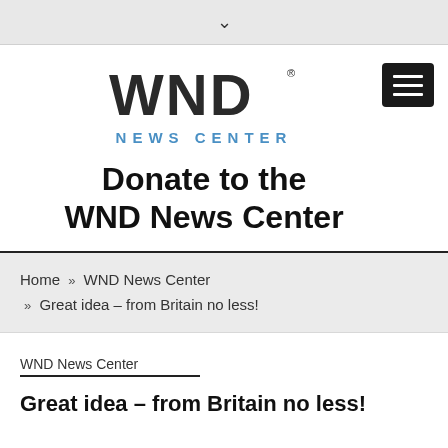chevron/dropdown indicator
[Figure (logo): WND News Center logo with large bold WND text and blue NEWS CENTER subtitle, with hamburger menu button]
Donate to the WND News Center
Home » WND News Center » Great idea – from Britain no less!
WND News Center
Great idea – from Britain no less!